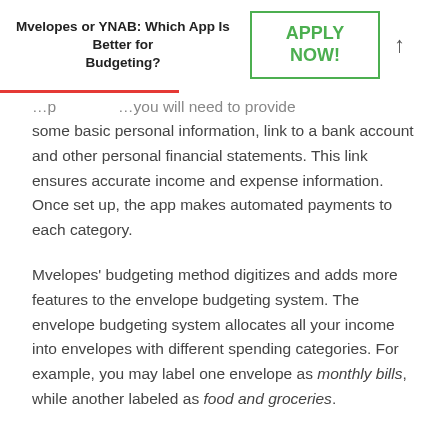Mvelopes or YNAB: Which App Is Better for Budgeting?
some basic personal information, link to a bank account and other personal financial statements. This link ensures accurate income and expense information. Once set up, the app makes automated payments to each category.
Mvelopes' budgeting method digitizes and adds more features to the envelope budgeting system. The envelope budgeting system allocates all your income into envelopes with different spending categories. For example, you may label one envelope as monthly bills, while another labeled as food and groceries.